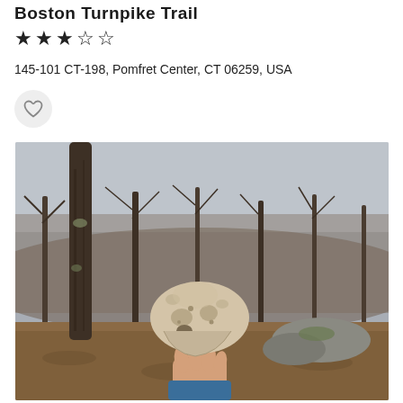Boston Turnpike Trail
★★★☆☆
145-101 CT-198, Pomfret Center, CT 06259, USA
[Figure (photo): A hand holding an animal skull in a leafless winter forest with bare trees and rocky terrain in the background. The sky is overcast and grey.]